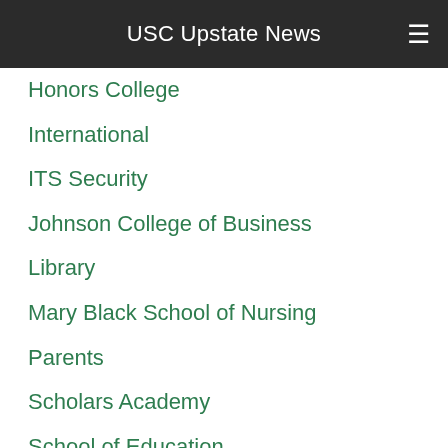USC Upstate News
Honors College
International
ITS Security
Johnson College of Business
Library
Mary Black School of Nursing
Parents
Scholars Academy
School of Education
Service-Learning
Staff
Student Announcements
Students
Uncategorized
USC Upstate in the News